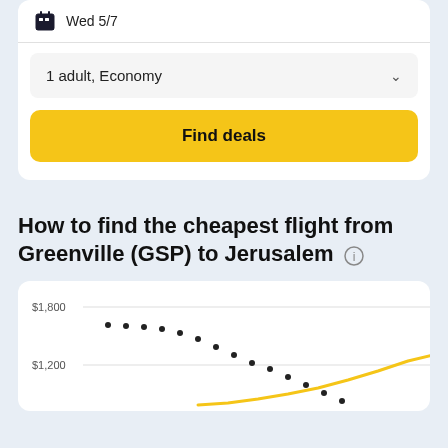Wed 5/7
1 adult, Economy
Find deals
How to find the cheapest flight from Greenville (GSP) to Jerusalem
[Figure (continuous-plot): Line chart showing flight price trends from Greenville (GSP) to Jerusalem. Y-axis shows prices from $1,200 to $1,800. A dotted line descends from upper-left to lower-right, while a yellow solid line rises from lower-left to lower-right, crossing near the bottom of the chart.]